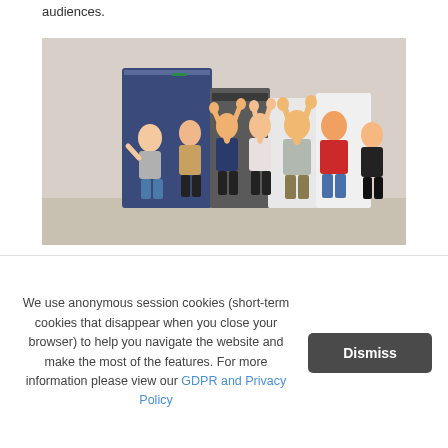audiences.
[Figure (photo): Group of seven people posing enthusiastically in front of large industrial printing equipment in a printing facility. Some have arms raised in celebration.]
We use anonymous session cookies (short-term cookies that disappear when you close your browser) to help you navigate the website and make the most of the features. For more information please view our GDPR and Privacy Policy